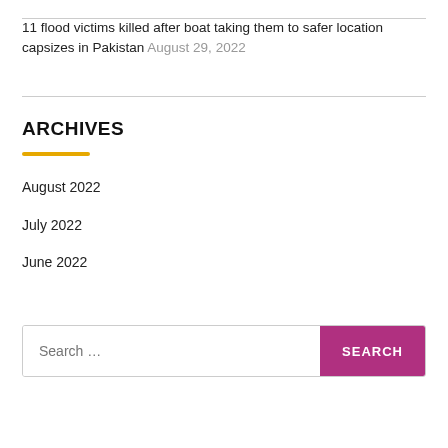11 flood victims killed after boat taking them to safer location capsizes in Pakistan August 29, 2022
ARCHIVES
August 2022
July 2022
June 2022